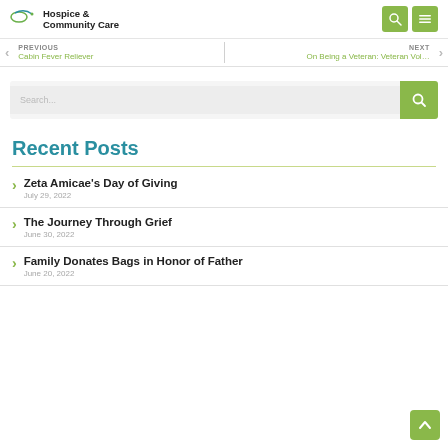Hospice & Community Care
PREVIOUS | Cabin Fever Reliever | NEXT | On Being a Veteran: Veteran Vol…
Search...
Recent Posts
Zeta Amicae's Day of Giving — July 29, 2022
The Journey Through Grief — June 30, 2022
Family Donates Bags in Honor of Father — June 20, 2022